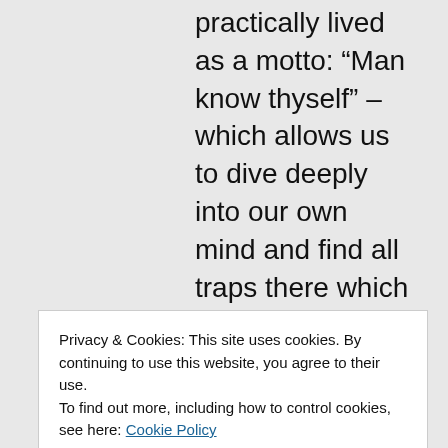practically lived as a motto: “Man know thyself” – which allows us to dive deeply into our own mind and find all traps there which with the mind often tries to capture our attention and lead us astray. Sant Kirpal Singh said: “A time will come when millions of pilgrims from all over the world will go to Kirpal Sagar – time will show…” – as it already is a small paradise.
In Kirpal Sagar, there were already 2 mayor
Privacy & Cookies: This site uses cookies. By continuing to use this website, you agree to their use. To find out more, including how to control cookies, see here: Cookie Policy
Close and accept
Dear friend, be also careful when searching